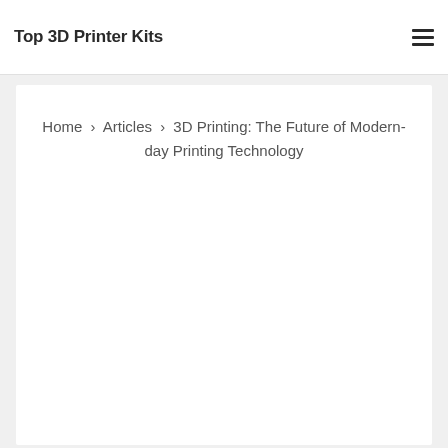Top 3D Printer Kits
Home › Articles › 3D Printing: The Future of Modern-day Printing Technology